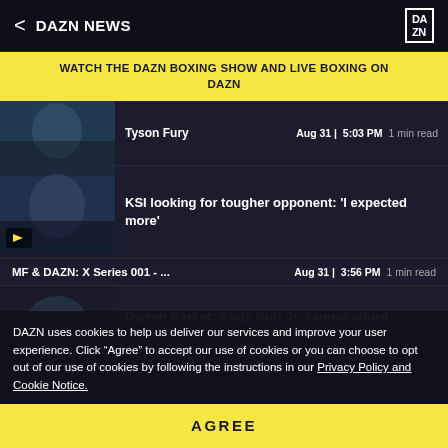DAZN NEWS
WATCH THE DAZN BOXING SHOW AND LIVE BOXING ON DAZN
Tyson Fury   Aug 31 | 5:03 PM  1 min read
[Figure (photo): Boxing athlete in ring, video thumbnail with play button]
KSI looking for tougher opponent: 'I expected more'
MF & DAZN: X Series 001 - ...   Aug 31 | 3:56 PM  1 min read
[Figure (photo): Boxing athlete thumbnail for Darren Barker story]
Darren Barker: Andy Ruiz Jr. cannot afford
DAZN uses cookies to help us deliver our services and improve your user experience. Click “Agree” to accept our use of cookies or you can choose to opt out of our use of cookies by following the instructions in our Privacy Policy and Cookie Notice.
AGREE